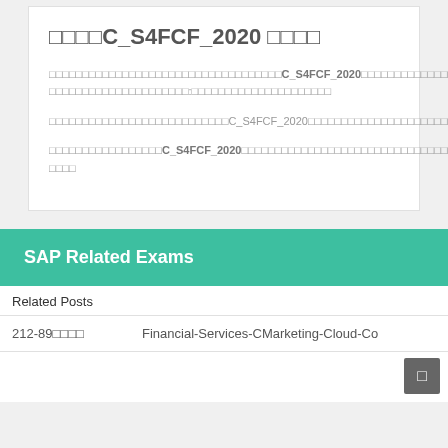□□□□C_S4FCF_2020 □□□□
□□□□□□□□□□□□□□□□□□□□□□□□□□□□□□□□□□□C_S4FCF_2020□□□□□□□□□□□□□□□□□□□□□□□□□□□□□□□□ □□□□□□□□□□□□□□□□□□□□□:□□□□□□□□□□□□□□□□□□□□□
□□□□□□□□□□□□□□□□□□□□□□□□□□□C_S4FCF_2020□□□□□□□□□□□□□□□□□□□□□□□□□□□□□□□□□□□□□□□□□□□□□□□□□□□□□□□□□□□□□□□□□□□□□□□□□□□
□□□□□□□□□□□□□□□□□C_S4FCF_2020□□□□□□□□□□□□□□□□□□□□□□□□□□□□□□□□□□□□□□□□□□□□□□□□□□□□
SAP Related Exams
Related Posts
| 212-89□□□□ | Financial-Services-CMarketing-Cloud-Co |